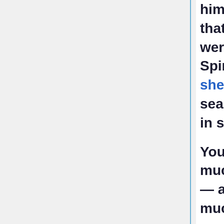him to infer that "there were more Spirits than shells in the seance rooms" in such a case.

You have much to learn — and we have much to teach nor do we refuse to go to the very end. But we must really beg that you